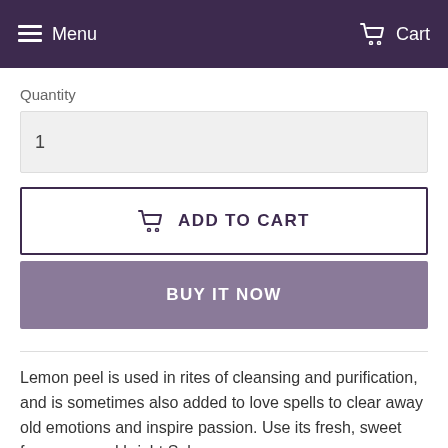Menu   Cart
Quantity
1
ADD TO CART
BUY IT NOW
Lemon peel is used in rites of cleansing and purification, and is sometimes also added to love spells to clear away old emotions and inspire passion. Use its fresh, sweet fragrance and bright Solar